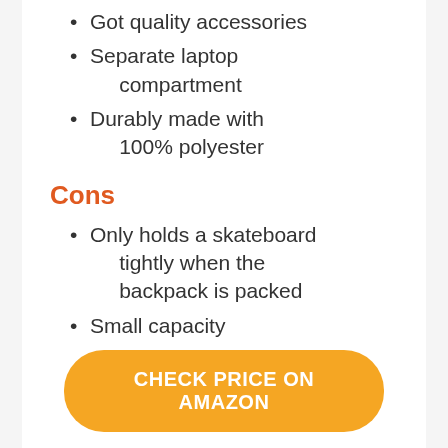Got quality accessories
Separate laptop compartment
Durably made with 100% polyester
Cons
Only holds a skateboard tightly when the backpack is packed
Small capacity
CHECK PRICE ON AMAZON